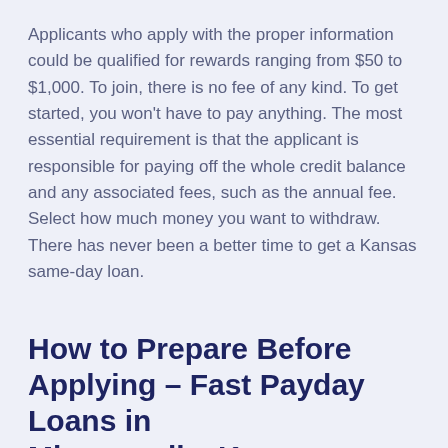Applicants who apply with the proper information could be qualified for rewards ranging from $50 to $1,000. To join, there is no fee of any kind. To get started, you won't have to pay anything. The most essential requirement is that the applicant is responsible for paying off the whole credit balance and any associated fees, such as the annual fee. Select how much money you want to withdraw. There has never been a better time to get a Kansas same-day loan.
How to Prepare Before Applying – Fast Payday Loans in Minneapolis, Kansas
[Figure (other): Green 'Apply Now' button]
Applying does NOT affect your credit score!
No credit check to apply.